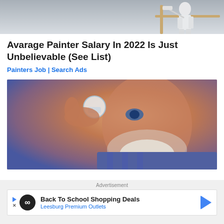[Figure (photo): Person in white painting uniform at top of stairs or scaffold, painting a wall]
Avarage Painter Salary In 2022 Is Just Unbelievable (See List)
Painters Job | Search Ads
[Figure (photo): Close-up of elderly man with white beard applying eye drops]
Advertisement
Back To School Shopping Deals
Leesburg Premium Outlets